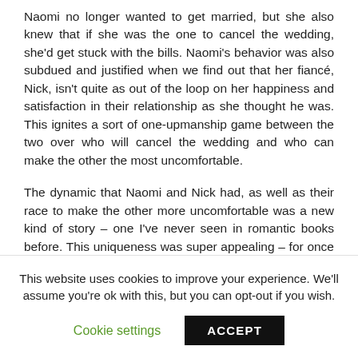Naomi no longer wanted to get married, but she also knew that if she was the one to cancel the wedding, she'd get stuck with the bills. Naomi's behavior was also subdued and justified when we find out that her fiancé, Nick, isn't quite as out of the loop on her happiness and satisfaction in their relationship as she thought he was. This ignites a sort of one-upmanship game between the two over who will cancel the wedding and who can make the other the most uncomfortable.
The dynamic that Naomi and Nick had, as well as their race to make the other more uncomfortable was a new kind of story – one I've never seen in romantic books before. This uniqueness was super appealing – for once it didn't feel like I was reading the same tropes cobbled together in a slightly different order
This website uses cookies to improve your experience. We'll assume you're ok with this, but you can opt-out if you wish.
Cookie settings | ACCEPT